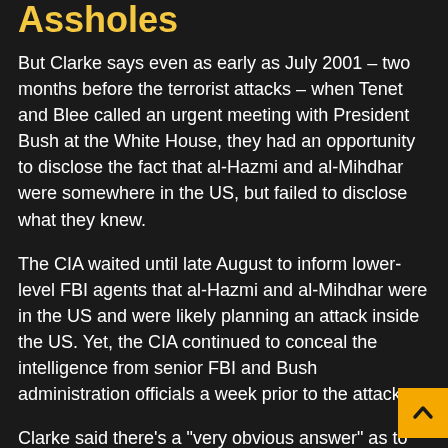Assholes
But Clarke says even as early as July 2001 – two months before the terrorist attacks – when Tenet and Blee called an urgent meeting with President Bush at the White House, they had an opportunity to disclose the fact that al-Hazmi and al-Mihdhar were somewhere in the US, but failed to disclose what they knew.
The CIA waited until late August to inform lower-level FBI agents that al-Hazmi and al-Mihdhar were in the US and were likely planning an attack inside the US. Yet, the CIA continued to conceal the intelligence from senior FBI and Bush administration officials a week prior to the attacks.
Clarke said there’s a “very obvious answer” as to why the CIA continued, as early as September 4, 2001, in a